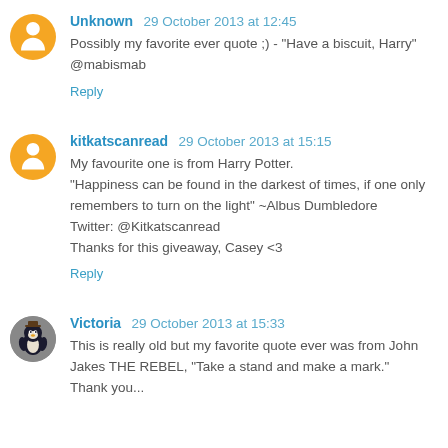Unknown 29 October 2013 at 12:45
Possibly my favorite ever quote ;) - "Have a biscuit, Harry"
@mabismab
Reply
kitkatscanread 29 October 2013 at 15:15
My favourite one is from Harry Potter.
"Happiness can be found in the darkest of times, if one only remembers to turn on the light" ~Albus Dumbledore
Twitter: @Kitkatscanread
Thanks for this giveaway, Casey <3
Reply
Victoria 29 October 2013 at 15:33
This is really old but my favorite quote ever was from John Jakes THE REBEL, "Take a stand and make a mark."
Thank you...